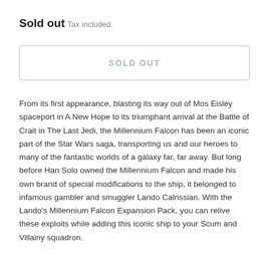Sold out
Tax included.
SOLD OUT
From its first appearance, blasting its way out of Mos Eisley spaceport in A New Hope to its triumphant arrival at the Battle of Crait in The Last Jedi, the Millennium Falcon has been an iconic part of the Star Wars saga, transporting us and our heroes to many of the fantastic worlds of a galaxy far, far away. But long before Han Solo owned the Millennium Falcon and made his own brand of special modifications to the ship, it belonged to infamous gambler and smuggler Lando Calrissian. With the Lando's Millennium Falcon Expansion Pack, you can relive these exploits while adding this iconic ship to your Scum and Villainy squadron.